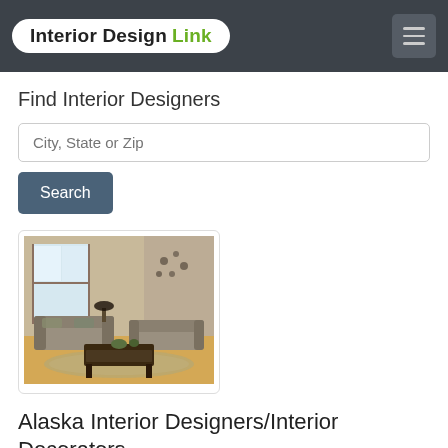Interior Design Link
Find Interior Designers
City, State or Zip
Search
[Figure (photo): Interior photo of a living room with grey sofa, coffee table, patterned rug, and large windows]
Alaska Interior Designers/Interior Decorators
Results of interior design firms in Alaska